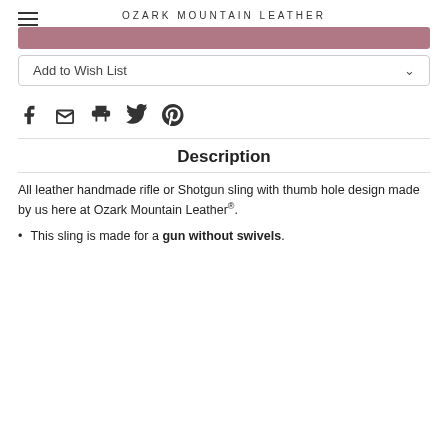OZARK MOUNTAIN LEATHER
[Figure (other): Partial view of a mauve/rose colored add to cart button]
Add to Wish List
[Figure (other): Social share icons: Facebook, Email, Print, Twitter, Pinterest]
Description
All leather handmade rifle or Shotgun sling with thumb hole design made by us here at Ozark Mountain Leather®.
This sling is made for a gun without swivels.